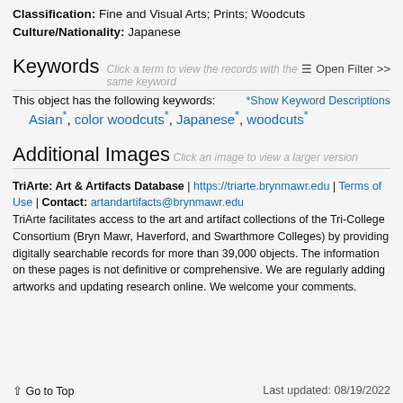Classification: Fine and Visual Arts; Prints; Woodcuts
Culture/Nationality: Japanese
Keywords  Click a term to view the records with the same keyword
This object has the following keywords:
*Show Keyword Descriptions
Asian*, color woodcuts*, Japanese*, woodcuts*
Additional Images  Click an image to view a larger version
TriArte: Art & Artifacts Database | https://triarte.brynmawr.edu | Terms of Use | Contact: artandartifacts@brynmawr.edu
TriArte facilitates access to the art and artifact collections of the Tri-College Consortium (Bryn Mawr, Haverford, and Swarthmore Colleges) by providing digitally searchable records for more than 39,000 objects. The information on these pages is not definitive or comprehensive. We are regularly adding artworks and updating research online. We welcome your comments.
↑ Go to Top    Last updated: 08/19/2022